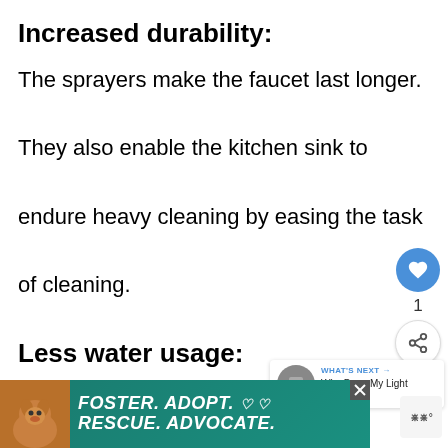Increased durability:
The sprayers make the faucet last longer. They also enable the kitchen sink to endure heavy cleaning by easing the task of cleaning.
Less water usage:
Sprayers have the functionality of controlling water dispensing.
[Figure (screenshot): Social sharing UI: blue heart/like button with count of 1, and a share button below]
[Figure (screenshot): What's Next widget showing article preview: 'Why Does My Light Switch...']
[Figure (screenshot): Advertisement banner: FOSTER. ADOPT. RESCUE. ADVOCATE. with dog image on teal background]